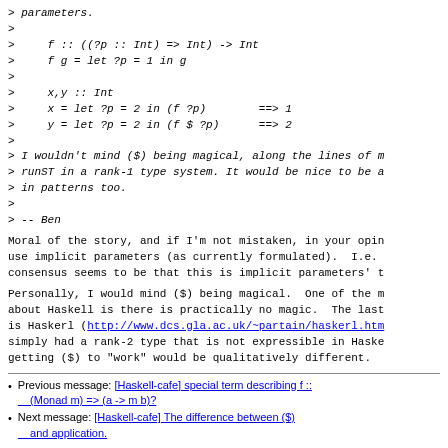> parameters.
>
>     f :: ((?p :: Int) => Int) -> Int
>     f g = let ?p = 1 in g
>
>     x,y :: Int
>     x = let ?p = 2 in (f ?p)        ==> 1
>     y = let ?p = 2 in (f $ ?p)      ==> 2
>
> I wouldn't mind ($) being magical, along the lines of runST in a rank-1 type system. It would be nice to be a in patterns too.
>
> -- Ben
Moral of the story, and if I'm not mistaken, in your opin use implicit parameters (as currently formulated).  I.e. consensus seems to be that this is implicit parameters' t
Personally, I would mind ($) being magical.  One of the about Haskell is there is practically no magic.  The last is Haskerl (http://www.dcs.gla.ac.uk/~partain/haskerl.htr simply had a rank-2 type that is not expressible in Haske getting ($) to "work" would be qualitatively different.
Previous message: [Haskell-cafe] special term describing f :: (Monad m) => (a -> m b)?
Next message: [Haskell-cafe] The difference between ($) and application.